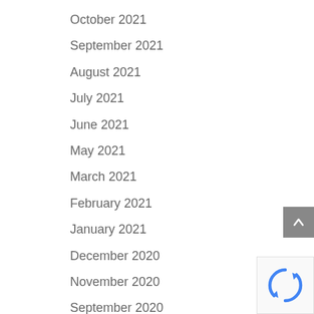October 2021
September 2021
August 2021
July 2021
June 2021
May 2021
March 2021
February 2021
January 2021
December 2020
November 2020
September 2020
August 2020
July 2020